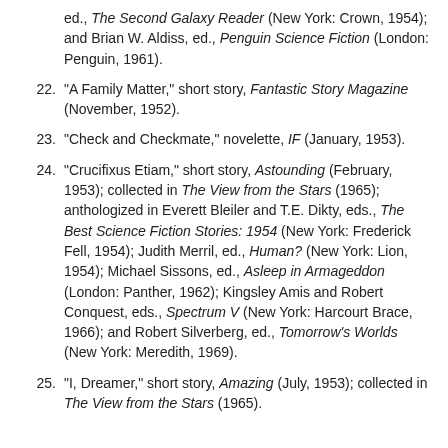ed., The Second Galaxy Reader (New York: Crown, 1954); and Brian W. Aldiss, ed., Penguin Science Fiction (London: Penguin, 1961).
22. "A Family Matter," short story, Fantastic Story Magazine (November, 1952).
23. "Check and Checkmate," novelette, IF (January, 1953).
24. "Crucifixus Etiam," short story, Astounding (February, 1953); collected in The View from the Stars (1965); anthologized in Everett Bleiler and T.E. Dikty, eds., The Best Science Fiction Stories: 1954 (New York: Frederick Fell, 1954); Judith Merril, ed., Human? (New York: Lion, 1954); Michael Sissons, ed., Asleep in Armageddon (London: Panther, 1962); Kingsley Amis and Robert Conquest, eds., Spectrum V (New York: Harcourt Brace, 1966); and Robert Silverberg, ed., Tomorrow's Worlds (New York: Meredith, 1969).
25. "I, Dreamer," short story, Amazing (July, 1953); collected in The View from the Stars (1965).